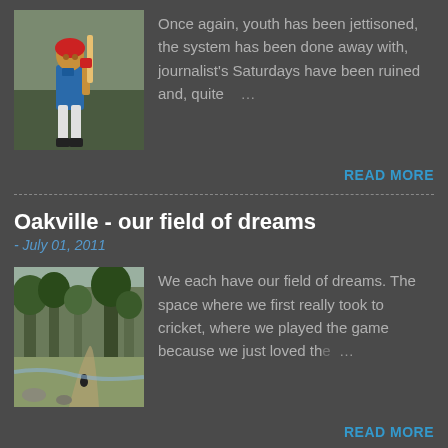[Figure (photo): Cricket player holding a bat, in blue jersey, outdoors]
Once again, youth has been jettisoned, the system has been done away with, journalist's Saturdays have been ruined and, quite …
READ MORE
Oakville - our field of dreams
- July 01, 2011
[Figure (photo): Outdoor nature scene with trees and a path]
We each have our field of dreams. The space where we first really took to cricket, where we played the game because we just loved th… …
READ MORE
Cometh the hour, cometh the Onion
- December 31, 2009